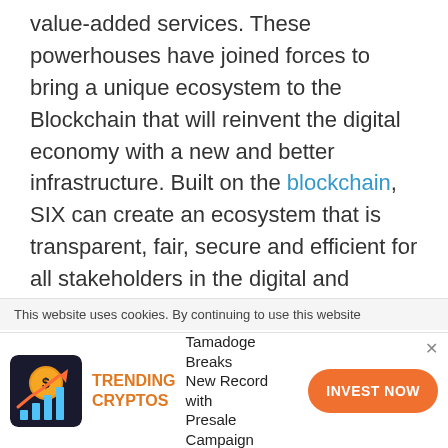value-added services. These powerhouses have joined forces to bring a unique ecosystem to the Blockchain that will reinvent the digital economy with a new and better infrastructure. Built on the blockchain, SIX can create an ecosystem that is transparent, fair, secure and efficient for all stakeholders in the digital and creative economy. Digital creators that use this platform will see more profits coming back to them, unlike today's status quo where content providers receive little compensation.
This website uses cookies. By continuing to use this website
TRENDING CRYPTOS  Tamadoge Breaks New Record with Presale Campaign  INVEST NOW